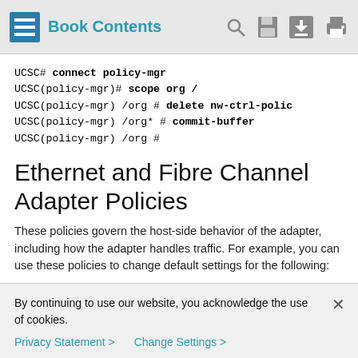Book Contents
UCSC# connect policy-mgr
UCSC(policy-mgr)# scope org /
UCSC(policy-mgr) /org # delete nw-ctrl-polic
UCSC(policy-mgr) /org* # commit-buffer
UCSC(policy-mgr) /org #
Ethernet and Fibre Channel Adapter Policies
These policies govern the host-side behavior of the adapter, including how the adapter handles traffic. For example, you can use these policies to change default settings for the following:
Queues
By continuing to use our website, you acknowledge the use of cookies.
Privacy Statement > Change Settings >